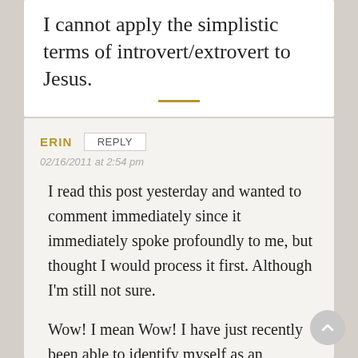I cannot apply the simplistic terms of introvert/extrovert to Jesus.
ERIN
02/16/2011 at 2:54 pm
I read this post yesterday and wanted to comment immediately since it immediately spoke profoundly to me, but thought I would process it first. Although I'm still not sure.

Wow! I mean Wow! I have just recently been able to identify myself as an introvert (I posses ALL